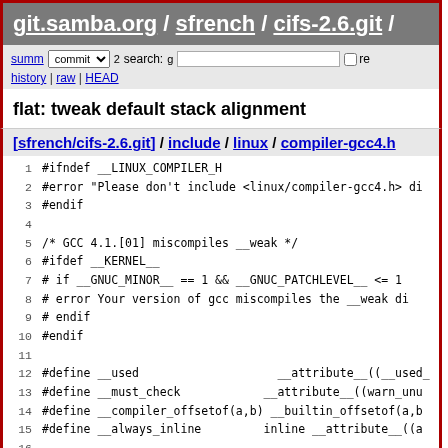git.samba.org / sfrench / cifs-2.6.git /
summ commit search: re history | raw | HEAD
flat: tweak default stack alignment
[sfrench/cifs-2.6.git] / include / linux / compiler-gcc4.h
[Figure (screenshot): Source code view of compiler-gcc4.h with line numbers 1-19]